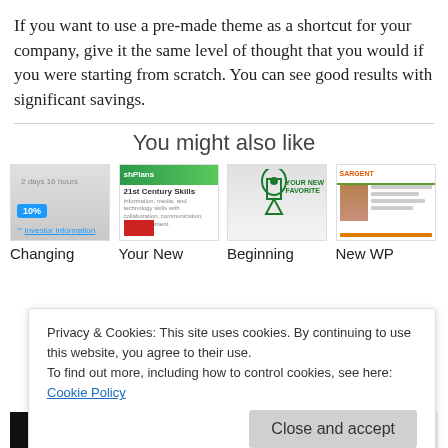If you want to use a pre-made theme as a shortcut for your company, give it the same level of thought that you would if you were starting from scratch. You can see good results with significant savings.
You might also like
[Figure (screenshot): Four website thumbnail screenshots in a row]
Changing
Your New
Beginning
New WP
Privacy & Cookies: This site uses cookies. By continuing to use this website, you agree to their use.
To find out more, including how to control cookies, see here: Cookie Policy
Close and accept